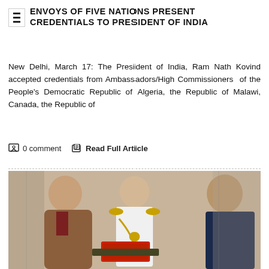ENVOYS OF FIVE NATIONS PRESENT CREDENTIALS TO PRESIDENT OF INDIA
New Delhi, March 17: The President of India, Ram Nath Kovind accepted credentials from Ambassadors/High Commissioners of the People's Democratic Republic of Algeria, the Republic of Malawi, Canada, the Republic of
0 comment   Read Full Article
[Figure (photo): Two men exchange credentials — an ambassador in a brown robe and suit presents a red-covered document to President Ram Nath Kovind in a dark suit, while a military officer in white dress uniform with gold epaulettes stands between them in the background.]